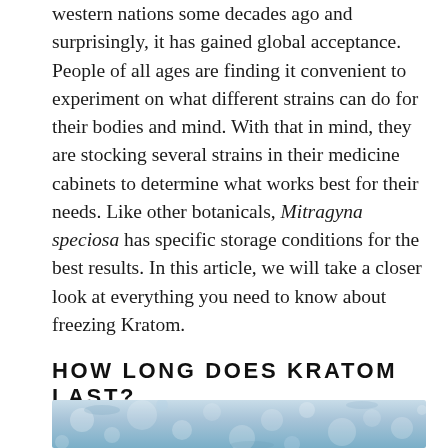western nations some decades ago and surprisingly, it has gained global acceptance. People of all ages are finding it convenient to experiment on what different strains can do for their bodies and mind. With that in mind, they are stocking several strains in their medicine cabinets to determine what works best for their needs. Like other botanicals, Mitragyna speciosa has specific storage conditions for the best results. In this article, we will take a closer look at everything you need to know about freezing Kratom.
HOW LONG DOES KRATOM LAST?
[Figure (photo): A close-up photo of frost or ice crystals with a blue-white color, partially visible at the bottom of the page.]